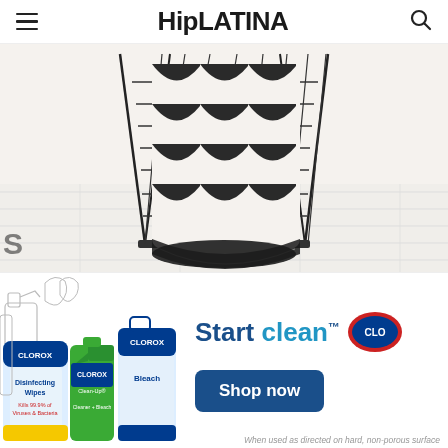HipLATINA
[Figure (photo): Decorative laundry basket with black and white scallop-patterned fabric liner inside a black metal wire basket, sitting on white wooden floor planks.]
[Figure (infographic): Clorox advertisement showing Clorox Disinfecting Wipes, Clean-Up Cleaner + Bleach spray, and Bleach products on the left side, with 'Start clean.' text and Clorox logo oval on the right, plus a 'Shop now' button. Footnote: When used as directed on hard, non-porous surface]
When used as directed on hard, non-porous surface